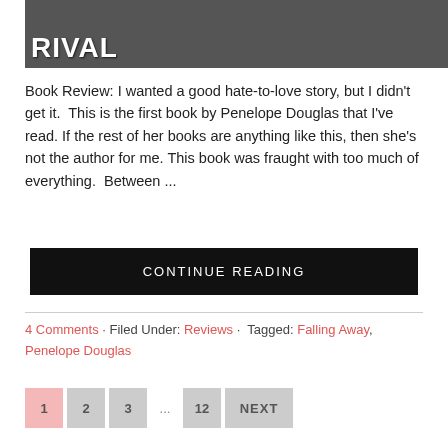[Figure (photo): Book cover image showing dark/moody photo with the word RIVAL in bold white text at the top left]
Book Review: I wanted a good hate-to-love story, but I didn't get it.  This is the first book by Penelope Douglas that I've read. If the rest of her books are anything like this, then she's not the author for me. This book was fraught with too much of everything.  Between ...
CONTINUE READING
4 Comments · Filed Under: Reviews · Tagged: Falling Away, Penelope Douglas
1  2  3  ...  12  NEXT